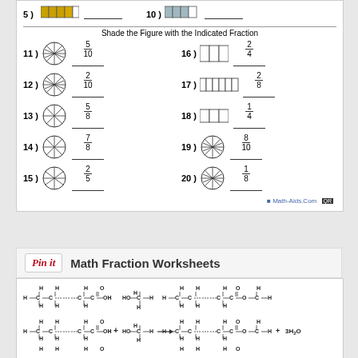[Figure (other): Math fraction worksheet showing problems 5 and 10 with colored grid figures and answer lines, followed by 'Shade the Figure with the Indicated Fraction' section with problems 11-20 featuring circle and rectangle fraction diagrams]
Pin it   Math Fraction Worksheets
[Figure (engineering-diagram): Chemical equation diagram showing molecular structures with H, C, O atoms connected by lines representing esterification reaction, with + HO-C-H arrow and 3H2O product]